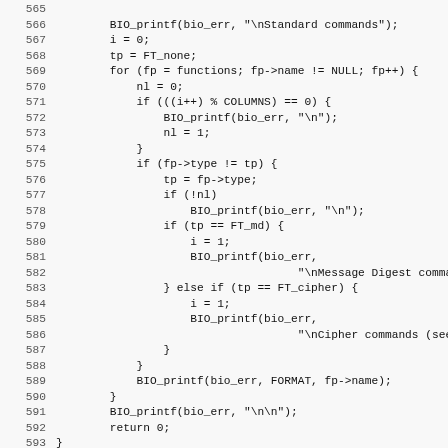[Figure (screenshot): Source code listing in monospace font showing C code lines 565-597, including BIO_printf calls, loops, conditionals for FT_md and FT_cipher, and int exit_main function definition.]